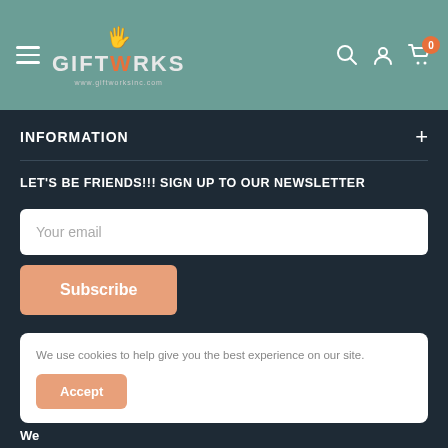[Figure (logo): Giftworks logo with orange hand icon and teal background header bar including hamburger menu, search, account, and cart icons]
INFORMATION
LET'S BE FRIENDS!!! SIGN UP TO OUR NEWSLETTER
Your email
Subscribe
We use cookies to help give you the best experience on our site.
Accept
We